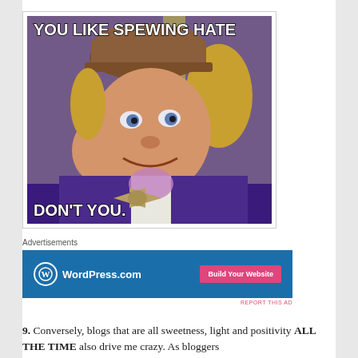[Figure (illustration): Internet meme featuring Gene Wilder as Willy Wonka in purple jacket and brown hat, leaning on hand with a sarcastic smile. Top text: 'YOU LIKE SPEWING HATE' and bottom text: 'DON'T YOU.']
Advertisements
[Figure (screenshot): WordPress.com advertisement banner with blue background, WordPress logo on left, and pink 'Build Your Website' button on right.]
REPORT THIS AD
9. Conversely, blogs that are all sweetness, light and positivity ALL THE TIME also drive me crazy. As bloggers